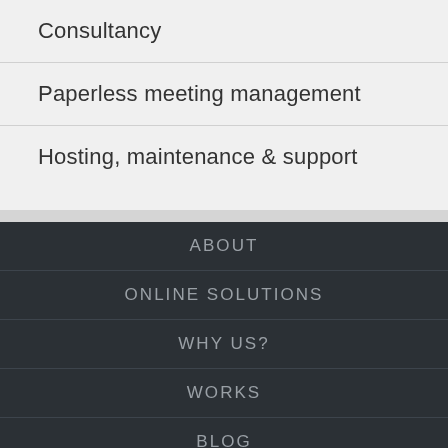Consultancy
Paperless meeting management
Hosting, maintenance & support
ABOUT
ONLINE SOLUTIONS
WHY US?
WORKS
BLOG
CONTACT